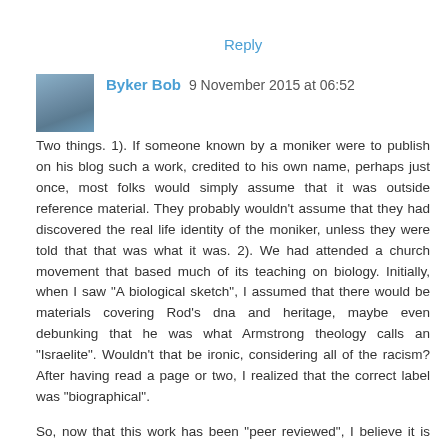Reply
Byker Bob 9 November 2015 at 06:52
Two things. 1). If someone known by a moniker were to publish on his blog such a work, credited to his own name, perhaps just once, most folks would simply assume that it was outside reference material. They probably wouldn't assume that they had discovered the real life identity of the moniker, unless they were told that that was what it was. 2). We had attended a church movement that based much of its teaching on biology. Initially, when I saw "A biological sketch", I assumed that there would be materials covering Rod's dna and heritage, maybe even debunking that he was what Armstrong theology calls an "Israelite". Wouldn't that be ironic, considering all of the racism? After having read a page or two, I realized that the correct label was "biographical".
So, now that this work has been "peer reviewed", I believe it is ready for wider publication!